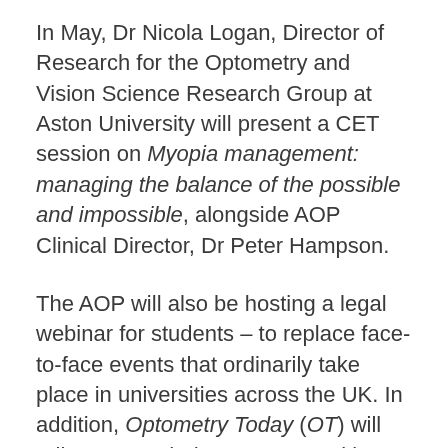In May, Dr Nicola Logan, Director of Research for the Optometry and Vision Science Research Group at Aston University will present a CET session on Myopia management: managing the balance of the possible and impossible, alongside AOP Clinical Director, Dr Peter Hampson.
The AOP will also be hosting a legal webinar for students – to replace face-to-face events that ordinarily take place in universities across the UK. In addition, Optometry Today (OT) will roll out extended CET opportunities for practitioners.
For more information and to book your place,